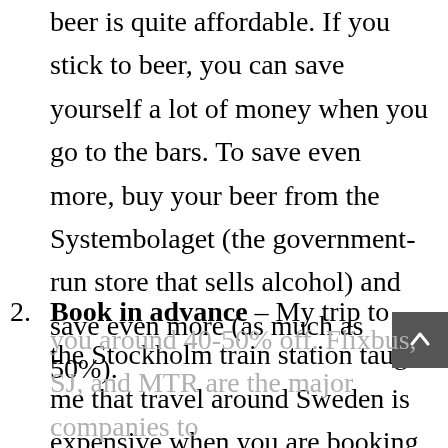beer is quite affordable. If you stick to beer, you can save yourself a lot of money when you go to the bars. To save even more, buy your beer from the Systembolaget (the government-run store that sells alcohol) and save even more (as much as 50%).
Book in advance – My trip to the Stockholm train station taught me that travel around Sweden is expensive when you are booking only a day or two beforehand. Booking trains or buses three to four weeks in advance can get you around 40-50% off. Flixbus, SJ, and MTR are the major companies to